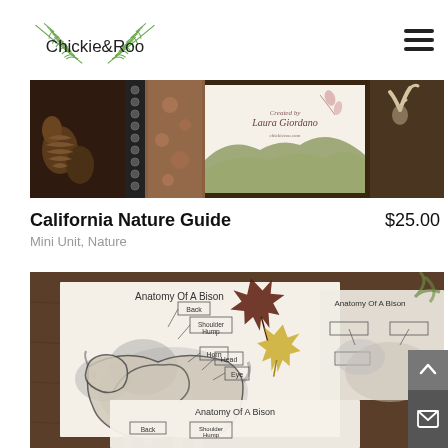Chickie&Roo
[Figure (photo): Photo of a California Nature Guide booklet on a wooden surface with pine cones and antler decorations. The booklet cover shows 'Created by Laura Giordano' with nature illustrations.]
California Nature Guide
$25.00
Mini Unit, Nature
[Figure (photo): Photo of multiple 'Anatomy Of A Bison' worksheets spread out on a dark wooden surface. The worksheets show a detailed illustration of a bison with labeled parts including Back, Shoulder Hump, Horn, Head, Eye. One worksheet has blank label boxes for student completion. Fall leaves (red and yellow maple) are placed decoratively among the worksheets.]